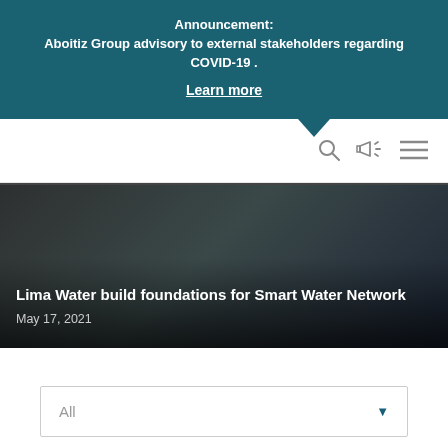Announcement: Aboitiz Group advisory to external stakeholders regarding COVID-19 . Learn more
[Figure (screenshot): Navigation bar with search icon, megaphone/announcements icon, and hamburger menu icon on the right]
[Figure (photo): Dark background news card image with text overlay: 'Lima Water build foundations for Smart Water Network' and date 'May 17, 2021']
All
Press Release